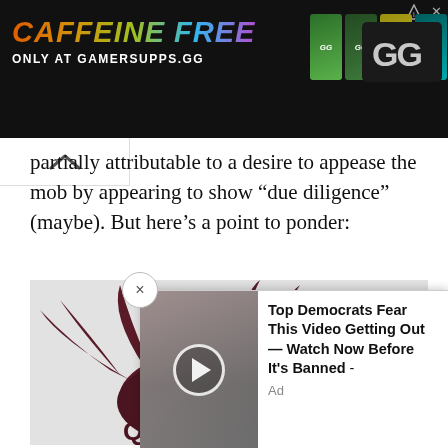[Figure (screenshot): Advertisement banner for GamerSupps.gg: 'CAFFEINE FREE ONLY AT GAMERSUPPS.GG' with colorful supplement cans and GG logo]
partially attributable to a desire to appease the mob by appearing to show “due diligence” (maybe). But here’s a point to ponder:
[Figure (logo): Queensland Firebirds netball team logo with stylized orange sun and dark maroon/brown bird silhouette, text 'QUEENSLAND' at bottom]
[Figure (screenshot): Bottom overlay advertisement: 'Top Democrats Fear This Video Getting Out — Watch Now Before It’s Banned - Ad' with photo of political figures and play button]